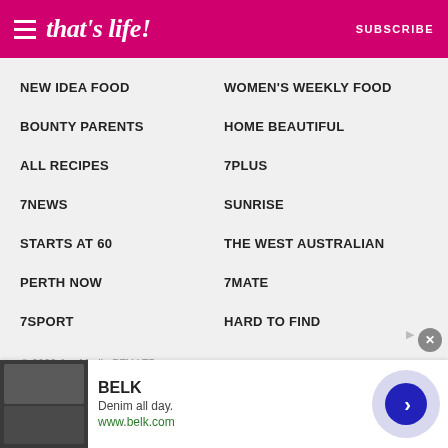that's life! | SUBSCRIBE
NEW IDEA FOOD
WOMEN'S WEEKLY FOOD
BOUNTY PARENTS
HOME BEAUTIFUL
ALL RECIPES
7PLUS
7NEWS
SUNRISE
STARTS AT 60
THE WEST AUSTRALIAN
PERTH NOW
7MATE
7SPORT
HARD TO FIND
© 2022 Are Media PTY LTD
All products are independently selected, tested or recommended by our team of experts. If you buy something, we may earn an affiliate commission.
[Figure (screenshot): Advertisement banner for BELK featuring denim apparel. Shows brand name BELK, tagline 'Denim all day.', URL www.belk.com, product images, and a navigation arrow button.]